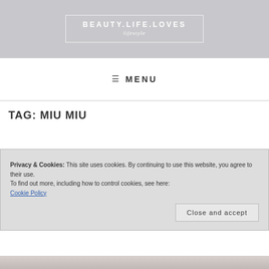[Figure (logo): Beauty Life Loves lifestyle blog header banner with gray marble background and white outlined box containing site title and subtitle]
≡ MENU
TAG: MIU MIU
Privacy & Cookies: This site uses cookies. By continuing to use this website, you agree to their use.
To find out more, including how to control cookies, see here:
Cookie Policy
Close and accept